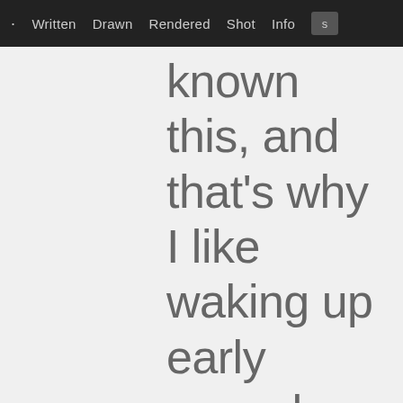· Written  Drawn  Rendered  Shot  Info
known this, and that's why I like waking up early nowadays. Sticking to this hard rule for the month helped me protect some of my most valuable time by making sure it wasn't being siphoned off by my